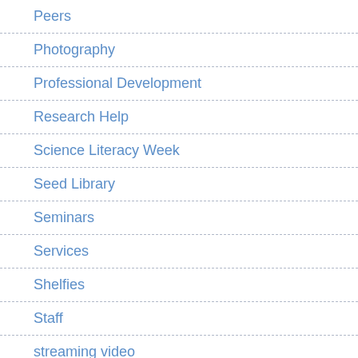Peers
Photography
Professional Development
Research Help
Science Literacy Week
Seed Library
Seminars
Services
Shelfies
Staff
streaming video